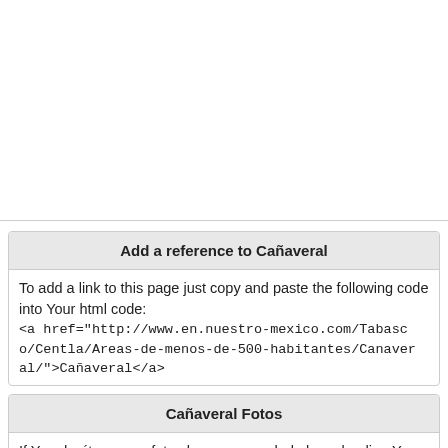Add a reference to Cañaveral
To add a link to this page just copy and paste the following code into Your html code:
<a href="http://www.en.nuestro-mexico.com/Tabasco/Centla/Areas-de-menos-de-500-habitantes/Canaveral/">Cañaveral</a>
Cañaveral Fotos
If You don´t see any fotos here you can help by uploading Your fotos at panoramio.com.
Do You know the places close to Cañaveral ?